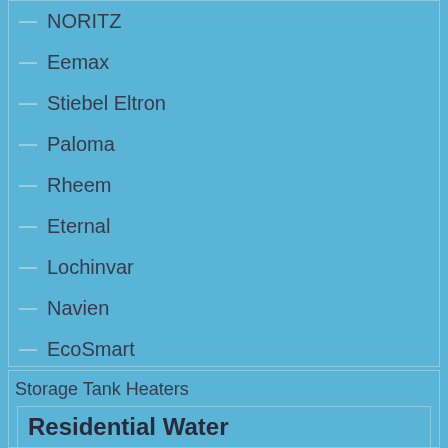NORITZ
Eemax
Stiebel Eltron
Paloma
Rheem
Eternal
Lochinvar
Navien
EcoSmart
Storage Tank Heaters
Residential Water